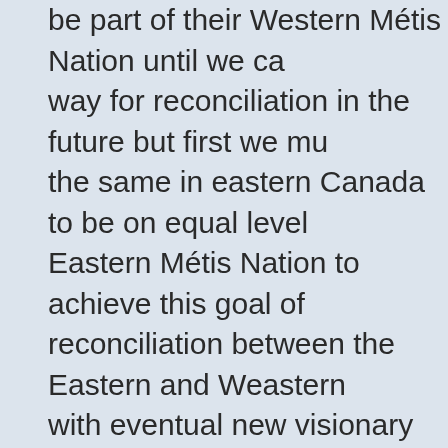be part of their Western Métis Nation until we can way for reconciliation in the future but first we mu the same in eastern Canada to be on equal level Eastern Métis Nation to achieve this goal of reconciliation between the Eastern and Weastern with eventual new visionary leaders on the forefr
Yes the Eastern Métis could do the same and org themself as a Nation Métis and define their territo the Mother land of the Métis if they which to do s Why not ?
What will the Métis members of the Congress of Aboriginal Peoples will do when we see a corpor leader call himself a Grand Chief, A Grand Chief what ? an amalgamation of peoples , being Métis Halfbreed , Non status , off reserve ? What kind Aboriginal Nation you will call that ? And on top c all these Métis organisations that pup up in easte Canada ? What Nation all these peoples lead . W